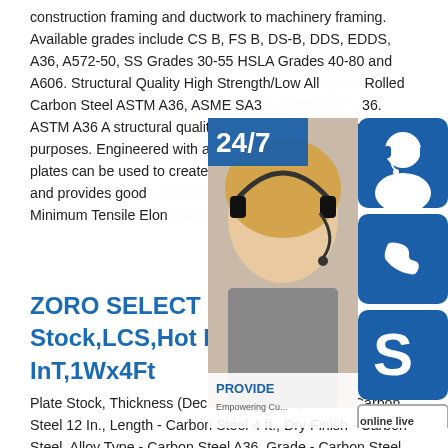construction framing and ductwork to machinery framing. Available grades include CS B, FS B, DS-B, DDS, EDDS, A36, A572-50, SS Grades 30-55 HSLA Grades 40-80 and A606. Structural Quality High Strength/Low Alloy Hot Rolled Carbon Steel ASTM A36, ASME SA36, and ASME S 36. ASTM A36 A structural quality carbon steel for structural purposes. Engineered with a minimum yield of 36 KSI. A36 plates can be used to create light structures and equipment and provides good weldability. Mechanical Properties Minimum Tensile Elon...
[Figure (illustration): Customer service widget showing a woman with headset, 24/7 badge, phone icon, Skype icon, and 'online live' button]
ZORO SELECT 3DRU5 Flat Stock,LCS,Hot Rld,3/16 InT,1Wx4Ft
Plate Stock, Thickness (Decimal) 0.187 In., Width - Carbon Steel 12 In., Length - Carbon Steel 4 ft., Dry Finish - Carbon Steel, Alloy Type - Carbon Steel A36, Grade - Carbon Steel Low Carbon Steel, ASTM A36 Carbon Steel Standards, Temper Hot Rolled, Thickness Tolerance +/-0.030 In., Width Tolerance +/-0.125 In., Length Tolerance +/-0.125 In., Typical...